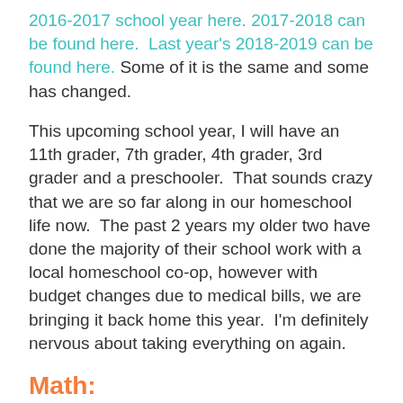2016-2017 school year here. 2017-2018 can be found here.  Last year's 2018-2019 can be found here. Some of it is the same and some has changed.
This upcoming school year, I will have an 11th grader, 7th grader, 4th grader, 3rd grader and a preschooler.  That sounds crazy that we are so far along in our homeschool life now.  The past 2 years my older two have done the majority of their school work with a local homeschool co-op, however with budget changes due to medical bills, we are bringing it back home this year.  I'm definitely nervous about taking everything on again.
Math: